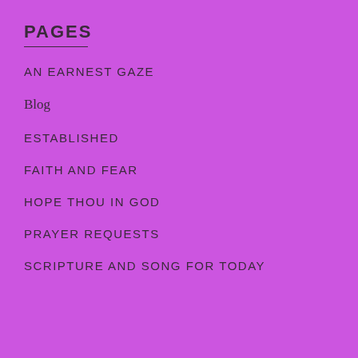PAGES
AN EARNEST GAZE
Blog
ESTABLISHED
FAITH AND FEAR
HOPE THOU IN GOD
PRAYER REQUESTS
SCRIPTURE AND SONG FOR TODAY